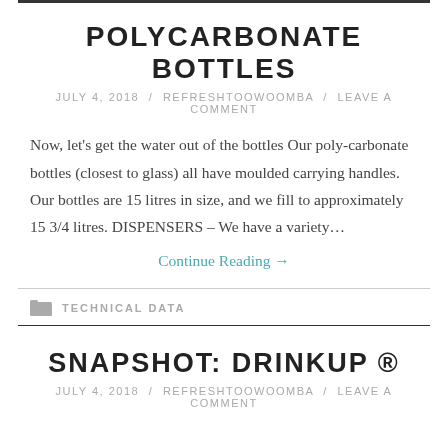POLYCARBONATE BOTTLES
JULY 4, 2018 / REFRESHTOOWOOMBA / LEAVE A COMMENT
Now, let's get the water out of the bottles Our poly-carbonate bottles (closest to glass) all have moulded carrying handles. Our bottles are 15 litres in size, and we fill to approximately 15 3/4 litres. DISPENSERS – We have a variety…
Continue Reading →
TECHNICAL DATA
SNAPSHOT: DRINKUP ®
JULY 4, 2018 / REFRESHTOOWOOMBA / LEAVE A COMMENT